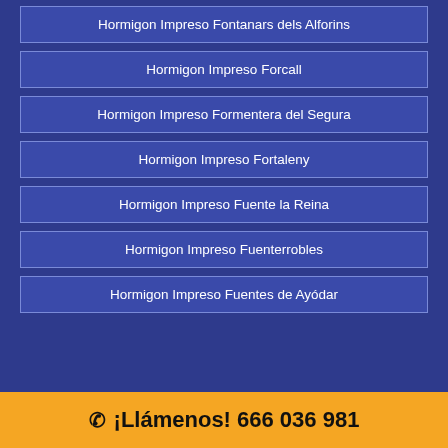Hormigon Impreso Fontanars dels Alforins
Hormigon Impreso Forcall
Hormigon Impreso Formentera del Segura
Hormigon Impreso Fortaleny
Hormigon Impreso Fuente la Reina
Hormigon Impreso Fuenterrobles
Hormigon Impreso Fuentes de Ayódar
Este sitio web utiliza cookies para asegurar que usted obtenga la mejor experiencia en web. Al hacer clic en "Aceptar", acepta el uso de TODAS las cookies.
Cookie settings  ACCEPT
¡Llámenos! 666 036 981